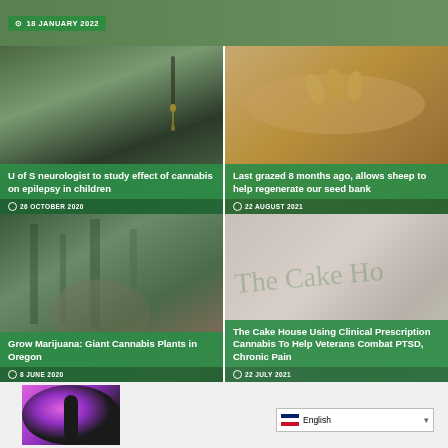[Figure (screenshot): Top banner with date 18 JANUARY 2022 on green background]
[Figure (photo): Cannabis dropper photo with article title U of S neurologist to study effect of cannabis on epilepsy in children, dated 26 OCTOBER 2020]
[Figure (photo): Seeds in hand photo with article title Last grazed 8 months ago, allows sheep to help regenerate our seed bank, dated 22 AUGUST 2021]
[Figure (photo): Cannabis plants in Oregon photo with article title Grow Marijuana: Giant Cannabis Plants in Oregon, dated 8 JUNE 2020]
[Figure (photo): The Cake House article with text The Cake House Using Clinical Prescription Cannabis To Help Veterans Combat PTSD, Chronic Pain, dated 22 JULY 2021]
[Figure (photo): Purple/pink lighted cylindrical device at bottom left]
English